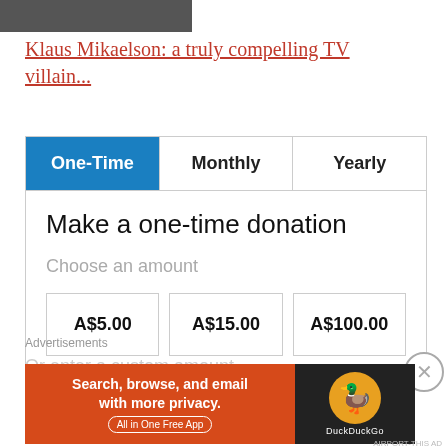[Figure (photo): Partial image of a person (Klaus Mikaelson), cropped at top]
Klaus Mikaelson: a truly compelling TV villain...
| One-Time | Monthly | Yearly |
| --- | --- | --- |
Make a one-time donation
Choose an amount
A$5.00
A$15.00
A$100.00
Advertisements
[Figure (infographic): DuckDuckGo advertisement banner: Search, browse, and email with more privacy. All in One Free App]